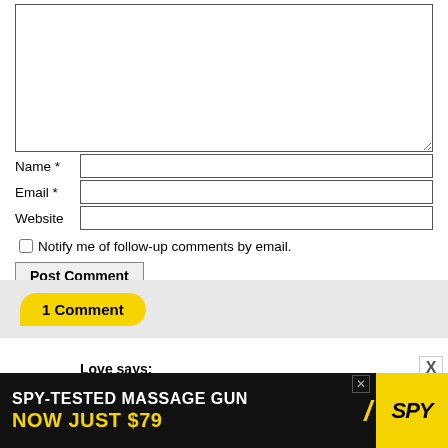[Figure (screenshot): Comment form with textarea, Name, Email, Website fields, checkbox for notifications, and Post Comment button]
Name *
Email *
Website
Notify me of follow-up comments by email.
Post Comment
1 Comment
Love says:
[Figure (screenshot): Advertisement banner: SPY-TESTED MASSAGE GUN NOW JUST $79 with SPY logo in yellow]